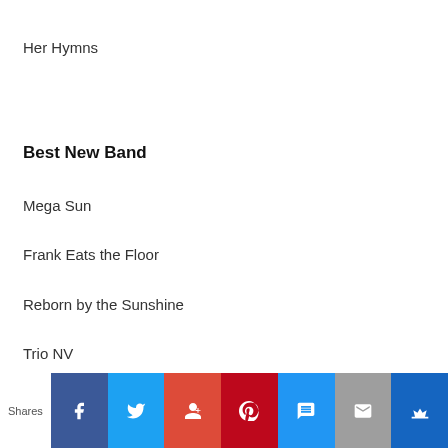Her Hymns
Best New Band
Mega Sun
Frank Eats the Floor
Reborn by the Sunshine
Trio NV
Shares [social share buttons: Facebook, Twitter, Google+, Pinterest, SMS, Email, Crown]